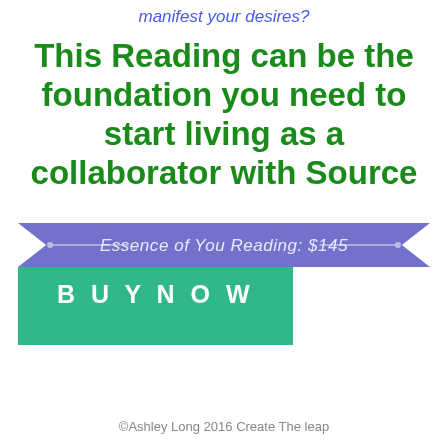manifest your desires?
This Reading can be the foundation you need to start living as a collaborator with Source
Essence of You Reading: $145
BUY NOW
©Ashley Long 2016 Create The leap